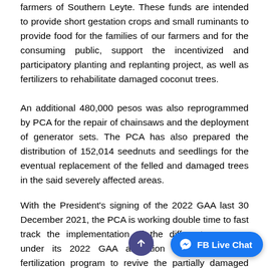farmers of Southern Leyte. These funds are intended to provide short gestation crops and small ruminants to provide food for the families of our farmers and for the consuming public, support the incentivized and participatory planting and replanting project, as well as fertilizers to rehabilitate damaged coconut trees.
An additional 480,000 pesos was also reprogrammed by PCA for the repair of chainsaws and the deployment of generator sets. The PCA has also prepared the distribution of 152,014 seednuts and seedlings for the eventual replacement of the felled and damaged trees in the said severely affected areas.
With the President's signing of the 2022 GAA last 30 December 2021, the PCA is working double time to fast track the implementation of the different programs under its 2022 GAA allocation like the coconut fertilization program to revive the partially damaged coconut trees; the